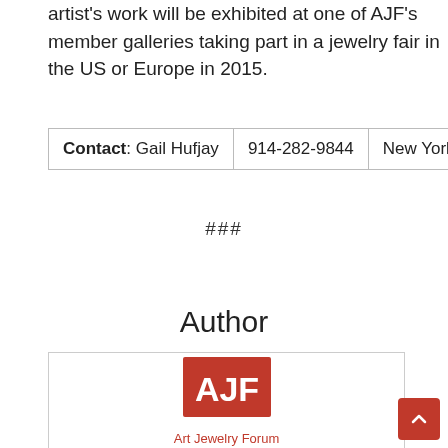artist's work will be exhibited at one of AJF's member galleries taking part in a jewelry fair in the US or Europe in 2015.
| Contact: Gail Hufjay | 914-282-9844 | New York, NY |
| --- | --- | --- |
###
Author
[Figure (logo): AJF Art Jewelry Forum logo — red square with white 'AJF' text, and 'Art Jewelry Forum' in red below]